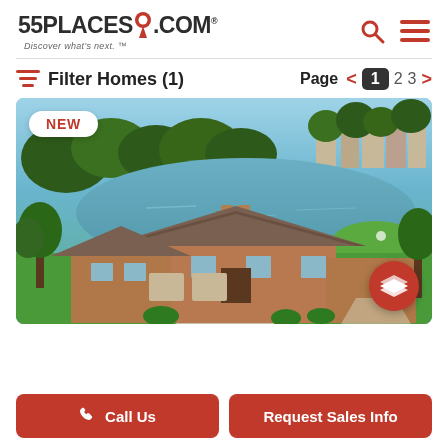[Figure (logo): 55places.com logo with red map pin, tagline 'Discover what's next.']
[Figure (other): Search and hamburger menu icons in red]
Filter Homes (1)
Page  < 1 2 3 >
[Figure (photo): Aerial view of lakefront brick home with golf course and lake in background. NEW badge overlay in top left. Layers button in bottom right.]
Call Us
Request Sales Info